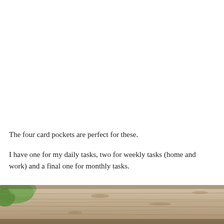The four card pockets are perfect for these.
I have one for my daily tasks, two for weekly tasks (home and work) and a final one for monthly tasks.
[Figure (photo): Close-up photo of a weathered wooden surface (table or shelf) with a blurred green background, visible at the bottom of the page.]